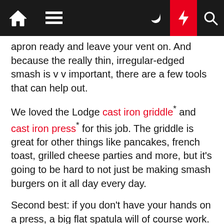[navigation bar with home, menu, moon, lightning, search icons]
apron ready and leave your vent on. And because the really thin, irregular-edged smash is v v important, there are a few tools that can help out.
We loved the Lodge cast iron griddle* and cast iron press* for this job. The griddle is great for other things like pancakes, french toast, grilled cheese parties and more, but it's going to be hard to not just be making smash burgers on it all day every day.
Second best: if you don't have your hands on a press, a big flat spatula will of course work. Sometimes it helps to put a little piece of parchment paper on the burger before smashing to avoid any sticking. You can also use the handle of a second spatula/wooden spoon in the center of your spatula to really help press down for maximum smash.